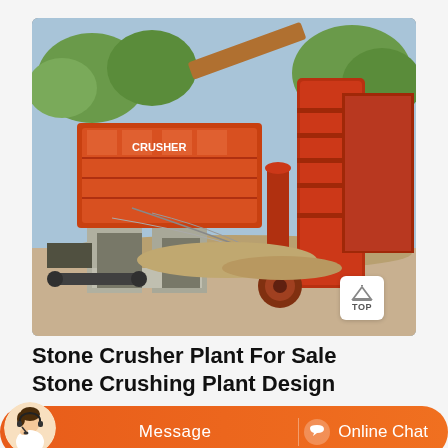[Figure (photo): Photograph of a stone crusher plant / stone crushing plant showing large orange industrial crushing machinery mounted on concrete supports, with conveyor belts, pipes, silos, and a red vertical cylindrical component, set outdoors with trees visible in the background.]
Stone Crusher Plant For Sale Stone Crushing Plant Design
[Figure (other): Orange chat bar overlay with a customer service avatar on the left, a Message button in the center, and an Online Chat button with speech bubble icon on the right.]
driven into the crushing site, no need to install infrastructure. Strong